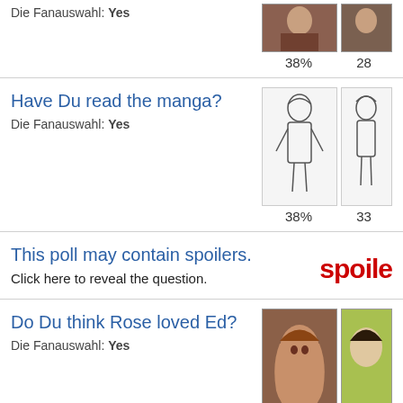Die Fanauswahl: Yes
[Figure (photo): Two cropped anime character images with percentages 38% and 28%]
Have Du read the manga?
Die Fanauswahl: Yes
[Figure (photo): Two anime character sketch images with percentages 38% and 33%]
This poll may contain spoilers.
Click here to reveal the question.
[Figure (illustration): Spoiler badge text in red]
Do Du think Rose loved Ed?
Die Fanauswahl: Yes
[Figure (photo): Two anime character images with percentages 57% and 25%]
This poll may contain spoilers.
Click here to reveal the question.
[Figure (illustration): Spoiler badge text in red]
This poll may contain spoilers.